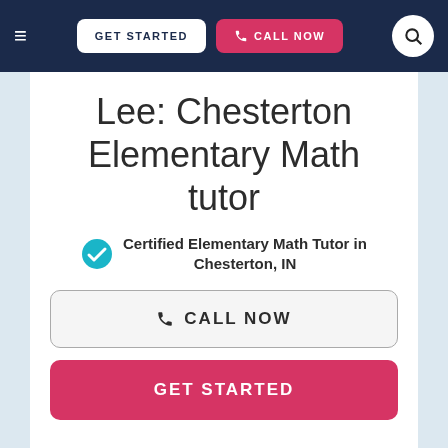GET STARTED  CALL NOW
Lee: Chesterton Elementary Math tutor
Certified Elementary Math Tutor in Chesterton, IN
CALL NOW
GET STARTED
…enjoy helping them along their path to success. But being laid back, I am also good